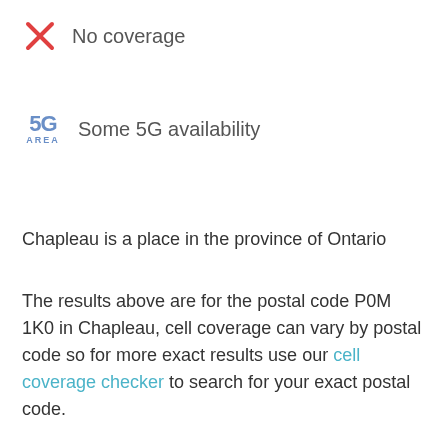No coverage
Some 5G availability
Chapleau is a place in the province of Ontario
The results above are for the postal code P0M 1K0 in Chapleau, cell coverage can vary by postal code so for more exact results use our cell coverage checker to search for your exact postal code.